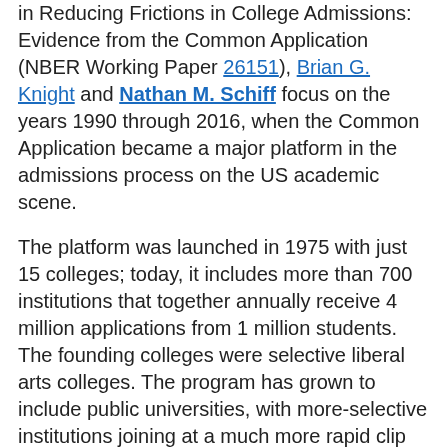in Reducing Frictions in College Admissions: Evidence from the Common Application (NBER Working Paper 26151), Brian G. Knight and Nathan M. Schiff focus on the years 1990 through 2016, when the Common Application became a major platform in the admissions process on the US academic scene.
The platform was launched in 1975 with just 15 colleges; today, it includes more than 700 institutions that together annually receive 4 million applications from 1 million students. The founding colleges were selective liberal arts colleges. The program has grown to include public universities, with more-selective institutions joining at a much more rapid clip than their less-selective counterparts.
Using the Common Application makes it simpler and less time-consuming for students to apply to multiple colleges and it exposes them to a geographically